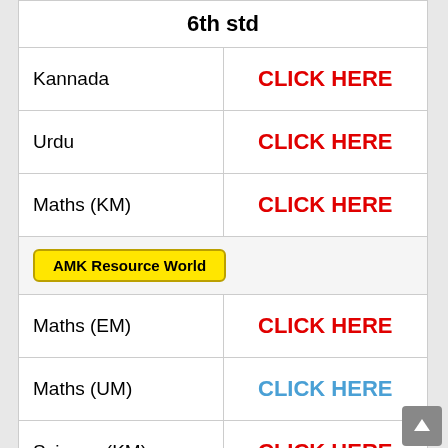| 6th std |  |
| --- | --- |
| Kannada | CLICK HERE |
| Urdu | CLICK HERE |
| Maths (KM) | CLICK HERE |
| AMK Resource World |  |
| Maths (EM) | CLICK HERE |
| Maths (UM) | CLICK HERE |
| Science (KM) | CLICK HERE |
| AMK Resource World |  |